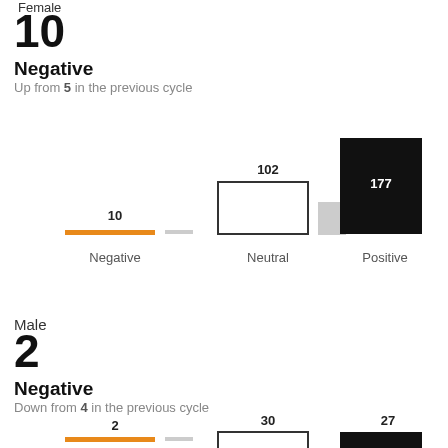Female
10
Negative
Up from 5 in the previous cycle
[Figure (grouped-bar-chart): Female sentiment chart]
Male
2
Negative
Down from 4 in the previous cycle
[Figure (grouped-bar-chart): Male sentiment chart]